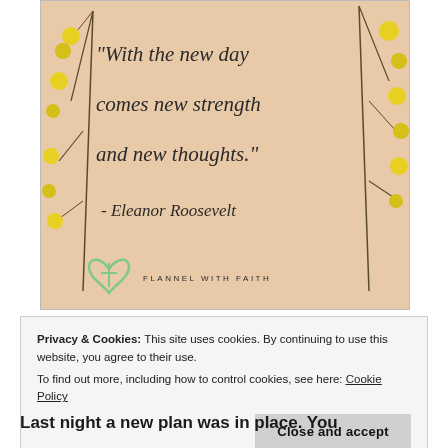[Figure (illustration): Inspirational quote card with peach/tan background, yellow wildflowers on left and right sides, handwritten-style text reading: "With the new day comes new strength and new thoughts." - Eleanor Roosevelt. Flannel with Faith logo at bottom with heart and cross icon.]
Privacy & Cookies: This site uses cookies. By continuing to use this website, you agree to their use.
To find out more, including how to control cookies, see here: Cookie Policy
Close and accept
Last night a new plan was in place. You